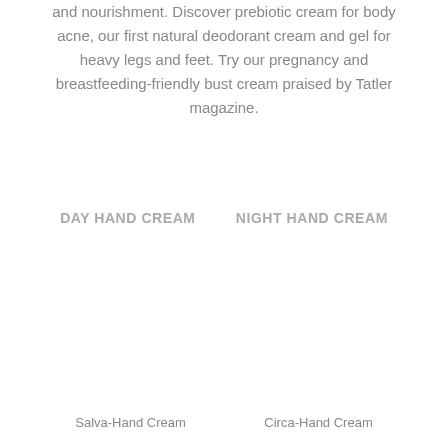and nourishment. Discover prebiotic cream for body acne, our first natural deodorant cream and gel for heavy legs and feet. Try our pregnancy and breastfeeding-friendly bust cream praised by Tatler magazine.
DAY HAND CREAM
NIGHT HAND CREAM
[Figure (photo): Product image area for Day Hand Cream (blank/white space)]
[Figure (photo): Product image area for Night Hand Cream (blank/white space)]
Salva-Hand Cream
Circa-Hand Cream